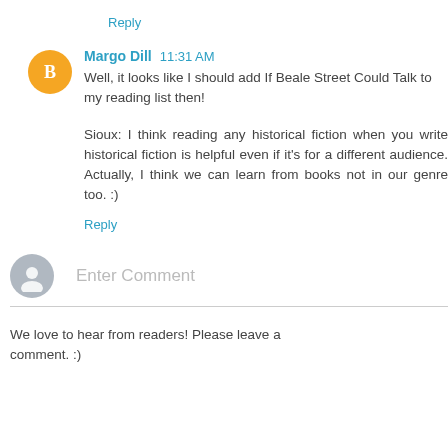Reply
Margo Dill  11:31 AM
Well, it looks like I should add If Beale Street Could Talk to my reading list then!

Sioux: I think reading any historical fiction when you write historical fiction is helpful even if it's for a different audience. Actually, I think we can learn from books not in our genre too. :)
Reply
Enter Comment
We love to hear from readers! Please leave a comment. :)